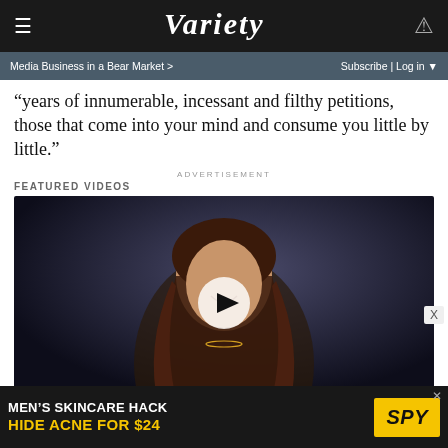VARIETY
Media Business in a Bear Market >
Subscribe | Log in
“years of innumerable, incessant and filthy petitions, those that come into your mind and consume you little by little.”
ADVERTISEMENT
FEATURED VIDEOS
[Figure (photo): Video thumbnail showing a young woman with long braided hair wearing a black dress, smiling at the camera against a dark blue background. A play button overlay is visible in the center.]
[Figure (photo): Advertisement banner: MEN'S SKINCARE HACK HIDE ACNE FOR $24 with SPY logo in yellow]